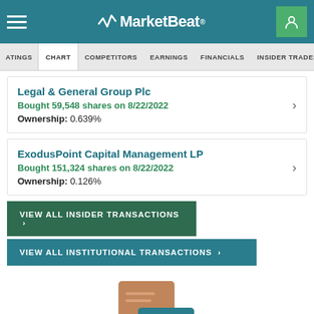MarketBeat
ATINGS | CHART | COMPETITORS | EARNINGS | FINANCIALS | INSIDER TRADES
Legal & General Group Plc
Bought 59,548 shares on 8/22/2022
Ownership: 0.639%
ExodusPoint Capital Management LP
Bought 151,324 shares on 8/22/2022
Ownership: 0.126%
VIEW ALL INSIDER TRANSACTIONS >
VIEW ALL INSTITUTIONAL TRANSACTIONS >
[Figure (illustration): Chat bubble icons - a brown/tan speech bubble overlapping a teal speech bubble, partially visible at bottom of page]